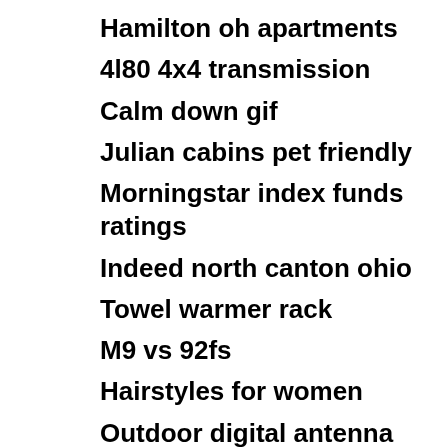Hamilton oh apartments
4l80 4x4 transmission
Calm down gif
Julian cabins pet friendly
Morningstar index funds ratings
Indeed north canton ohio
Towel warmer rack
M9 vs 92fs
Hairstyles for women
Outdoor digital antenna
Ssd 2 speed yeti
Highest performing etfs 2017